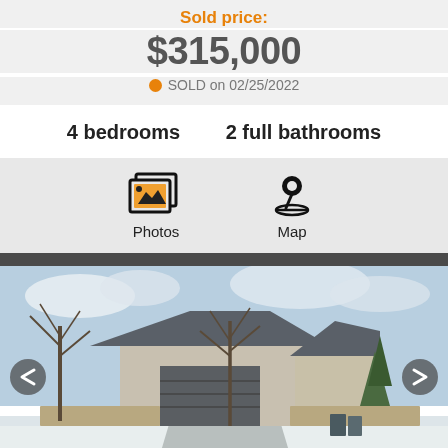Sold price:
$315,000
SOLD on 02/25/2022
4 bedrooms   2 full bathrooms
[Figure (screenshot): Real estate listing screenshot showing Photos and Map navigation icons]
[Figure (photo): Exterior photo of a single-family home in winter with snow on the ground, a dark gray garage door, leafless trees, and a wooden fence. Navigation arrows on left and right sides.]